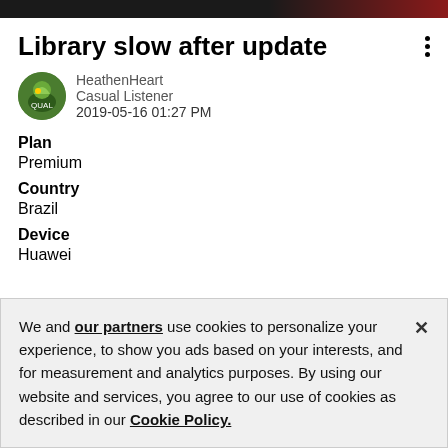[Figure (other): Dark top navigation bar, black on left fading to dark red on right]
Library slow after update
HeathenHeart
Casual Listener
2019-05-16 01:27 PM
Plan
Premium
Country
Brazil
Device
Huawei
We and our partners use cookies to personalize your experience, to show you ads based on your interests, and for measurement and analytics purposes. By using our website and services, you agree to our use of cookies as described in our Cookie Policy.